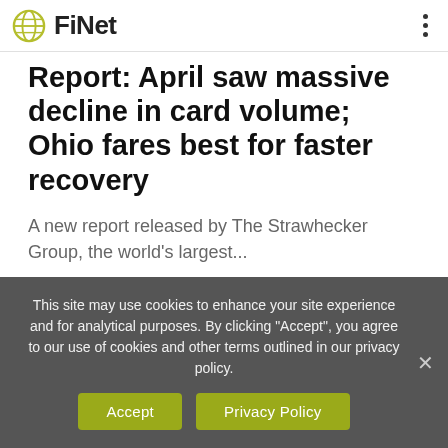FiNet
Report: April saw massive decline in card volume; Ohio fares best for faster recovery
A new report released by The Strawhecker Group, the world's largest...
Continue Reading
This site may use cookies to enhance your site experience and for analytical purposes. By clicking "Accept", you agree to our use of cookies and other terms outlined in our privacy policy.